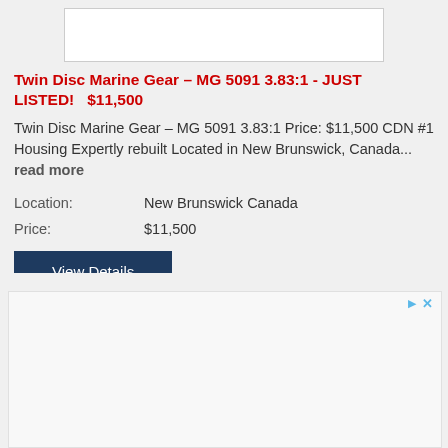[Figure (photo): White image placeholder box for listing photo]
Twin Disc Marine Gear – MG 5091 3.83:1 - JUST LISTED!   $11,500
Twin Disc Marine Gear – MG 5091 3.83:1 Price: $11,500 CDN #1 Housing Expertly rebuilt Located in New Brunswick, Canada... read more
| Location: | New Brunswick Canada |
| Price: | $11,500 |
View Details
[Figure (other): Advertisement banner area with play and close controls]